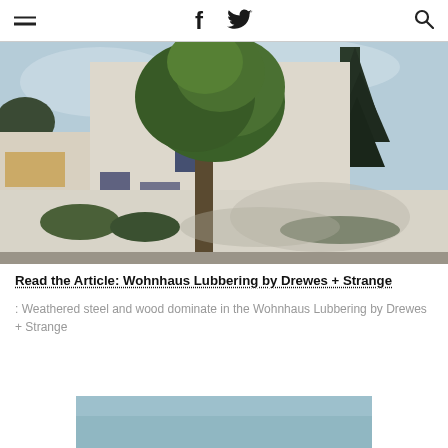≡  f  🐦  🔍
[Figure (photo): Exterior photograph of Wohnhaus Lubbering by Drewes + Strange, showing a white modernist building with a large tree in front and a white wall in the foreground, with other trees visible in background.]
Read the Article: Wohnhaus Lubbering by Drewes + Strange
: Weathered steel and wood dominate in the Wohnhaus Lubbering by Drewes + Strange
[Figure (photo): Partially visible light blue/teal colored image at the bottom of the page (cropped).]